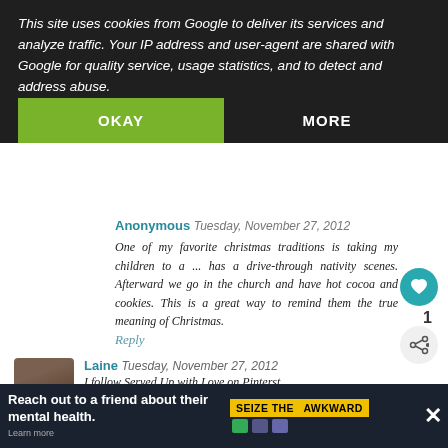This site uses cookies from Google to deliver its services and analyze traffic. Your IP address and user-agent are shared with Google for quality service, usage statistics, and to detect and address abuse.
OKAY
MORE
Anonymous Tuesday, November 27, 2012
One of my favorite christmas traditions is taking my children to a ... has a drive-through nativity scenes. Afterward we go in the church and have hot cocoa and cookies. This is a great way to remind them the true meaning of Christmas.
Reply
1
Laine  Tuesday, November 27, 2012
I follow Served Up with Love on Pinterst
lsandes@comcast.net
Reply
WHAT'S NEXT → Lemonade
Reach out to a friend about their mental health.
SEIZE THE AWKWARD
Learn more